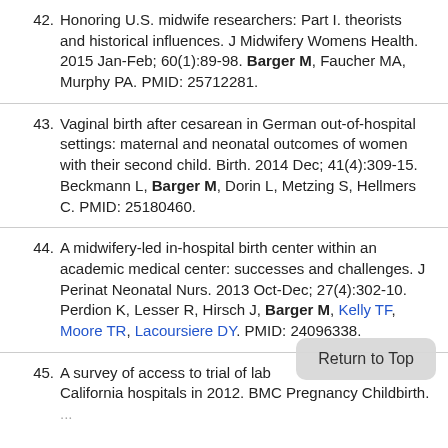42. Honoring U.S. midwife researchers: Part I. theorists and historical influences. J Midwifery Womens Health. 2015 Jan-Feb; 60(1):89-98. Barger M, Faucher MA, Murphy PA. PMID: 25712281.
43. Vaginal birth after cesarean in German out-of-hospital settings: maternal and neonatal outcomes of women with their second child. Birth. 2014 Dec; 41(4):309-15. Beckmann L, Barger M, Dorin L, Metzing S, Hellmers C. PMID: 25180460.
44. A midwifery-led in-hospital birth center within an academic medical center: successes and challenges. J Perinat Neonatal Nurs. 2013 Oct-Dec; 27(4):302-10. Perdion K, Lesser R, Hirsch J, Barger M, Kelly TF, Moore TR, Lacoursiere DY. PMID: 24096338.
45. A survey of access to trial of labor in California hospitals in 2012. BMC Pregnancy Childbirth. ...